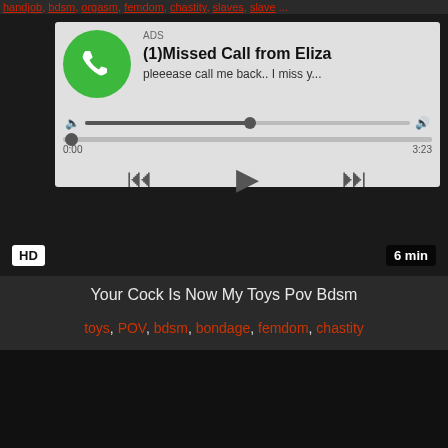handjob, bdsm, orgasm, femdom, chastity, slaves, slave ...
[Figure (screenshot): Audio player ad widget showing a missed call notification from Eliza with playback controls, progress bar showing 0:00 of 3:23, volume control, and rewind/play/fast-forward buttons. Embedded in a dark video player area with HD badge and 6 min duration badge.]
Your Cock Is Now My Toys Pov Bdsm
toys, POV, bdsm, bondage, femdom, chastity
[Figure (screenshot): Dark/black video thumbnail area at the bottom of the page.]